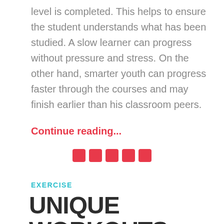level is completed. This helps to ensure the student understands what has been studied. A slow learner can progress without pressure and stress. On the other hand, smarter youth can progress faster through the courses and may finish earlier than his classroom peers.
Continue reading...
[Figure (other): Five red rounded square decorative dots/divider]
EXERCISE
UNIQUE WORKOUTS THAT I